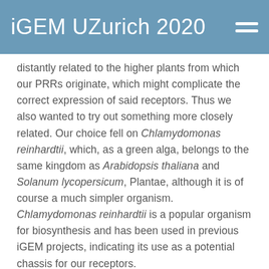iGEM UZurich 2020
distantly related to the higher plants from which our PRRs originate, which might complicate the correct expression of said receptors. Thus we also wanted to try out something more closely related. Our choice fell on Chlamydomonas reinhardtii, which, as a green alga, belongs to the same kingdom as Arabidopsis thaliana and Solanum lycopersicum, Plantae, although it is of course a much simpler organism. Chlamydomonas reinhardtii is a popular organism for biosynthesis and has been used in previous iGEM projects, indicating its use as a potential chassis for our receptors.
Receptors